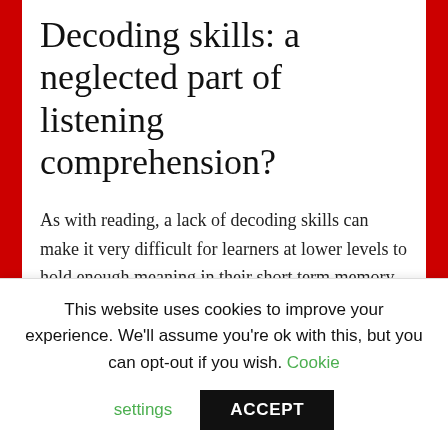Decoding skills: a neglected part of listening comprehension?
As with reading, a lack of decoding skills can make it very difficult for learners at lower levels to hold enough meaning in their short term memory to effectively use their meaning building skills. This week I've written a post on this, with a range of practical ideas, for the OUP ELT Global Blog. Link here.
This website uses cookies to improve your experience. We'll assume you're ok with this, but you can opt-out if you wish. Cookie settings ACCEPT